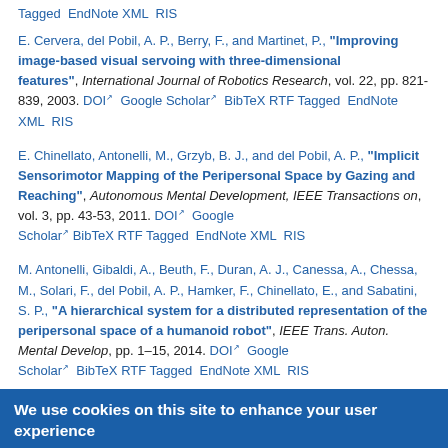Tagged  EndNote XML  RIS
E. Cervera, del Pobil, A. P., Berry, F., and Martinet, P., "Improving image-based visual servoing with three-dimensional features", International Journal of Robotics Research, vol. 22, pp. 821-839, 2003. DOI  Google Scholar  BibTeX RTF Tagged  EndNote XML  RIS
E. Chinellato, Antonelli, M., Grzyb, B. J., and del Pobil, A. P., "Implicit Sensorimotor Mapping of the Peripersonal Space by Gazing and Reaching", Autonomous Mental Development, IEEE Transactions on, vol. 3, pp. 43-53, 2011. DOI  Google Scholar  BibTeX RTF Tagged  EndNote XML  RIS
M. Antonelli, Gibaldi, A., Beuth, F., Duran, A. J., Canessa, A., Chessa, M., Solari, F., del Pobil, A. P., Hamker, F., Chinellato, E., and Sabatini, S. P., "A hierarchical system for a distributed representation of the peripersonal space of a humanoid robot", IEEE Trans. Auton. Mental Develop, pp. 1–15, 2014. DOI  Google Scholar  BibTeX RTF Tagged  EndNote XML  RIS
We use cookies on this site to enhance your user experience